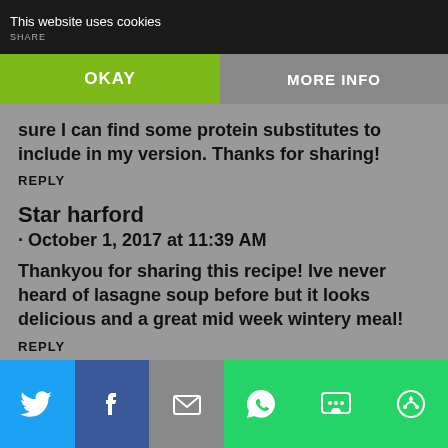This website uses cookies  SHARE
OKAY   MORE INFO
sure I can find some protein substitutes to include in my version. Thanks for sharing!
REPLY
Star harford
· October 1, 2017 at 11:39 AM
Thankyou for sharing this recipe! Ive never heard of lasagne soup before but it looks delicious and a great mid week wintery meal!
REPLY
Twitter  Facebook  Email  WhatsApp  SMS  More